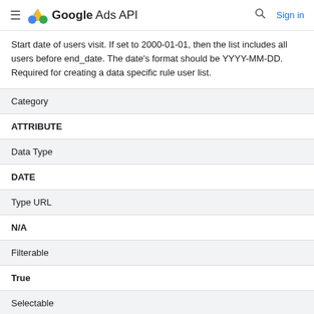Google Ads API  Sign in
Start date of users visit. If set to 2000-01-01, then the list includes all users before end_date. The date's format should be YYYY-MM-DD. Required for creating a data specific rule user list.
| Category | ATTRIBUTE |
| Data Type | DATE |
| Type URL | N/A |
| Filterable | True |
| Selectable |  |